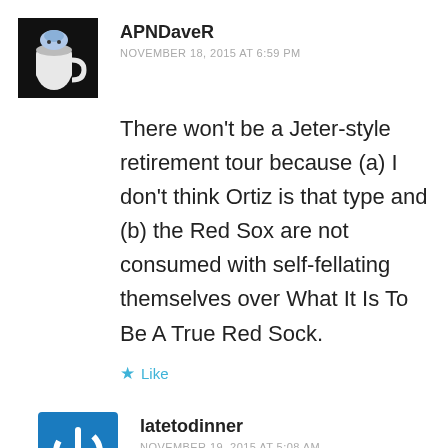[Figure (illustration): Avatar of APNDaveR: cartoon image of a mug with a face on a black background]
APNDaveR
NOVEMBER 18, 2015 AT 6:59 PM
There won't be a Jeter-style retirement tour because (a) I don't think Ortiz is that type and (b) the Red Sox are not consumed with self-fellating themselves over What It Is To Be A True Red Sock.
Like
[Figure (logo): Avatar of latetodinner: blue square with white power button icon]
latetodinner
NOVEMBER 19, 2015 AT 5:08 AM
This is a joke right?